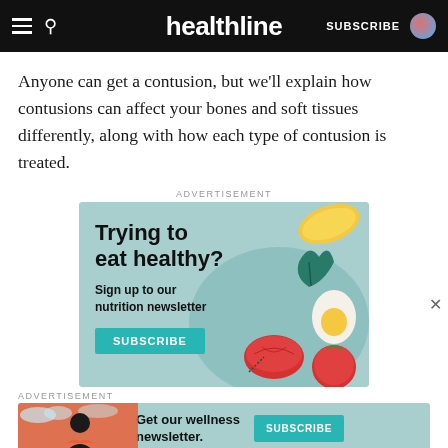healthline — SUBSCRIBE
Anyone can get a contusion, but we'll explain how contusions can affect your bones and soft tissues differently, along with how each type of contusion is treated.
ADVERTISEMENT
[Figure (illustration): Healthline nutrition newsletter advertisement on a teal background. Text reads: 'Trying to eat healthy? Sign up to our nutrition newsletter' with a SUBSCRIBE button. Illustrated food items: lemon slice, arugula leaf, egg, tomatoes.]
ADVERTISEMENT
[Figure (illustration): Healthline wellness newsletter strip ad on teal background with illustrated woman. Text: 'Get our wellness newsletter.' with a teal SUBSCRIBE button.]